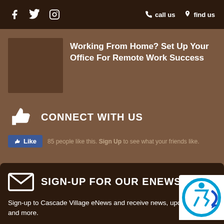f  Twitter  Instagram  call us  find us
Working From Home? Set Up Your Office For Remote Work Success
CONNECT WITH US
85 people like this. Sign Up to see what your friends like.
DOWNLOAD RIDEBEND APP
SIGN-UP FOR OUR ENEWS
Sign-up to Cascade Village eNews and receive news, updates, deals and more.